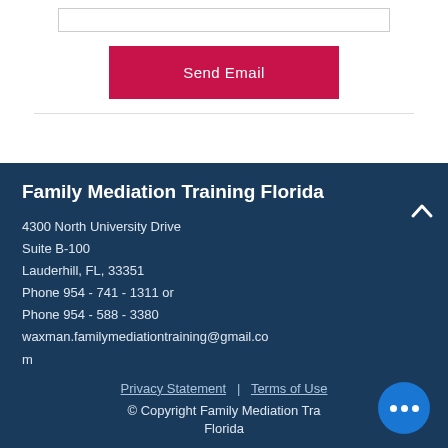[Figure (other): Text input field (empty)]
Send Email
Family Mediation Training Florida
4300 North University Drive
Suite B-100
Lauderhill, FL, 33351
Phone 954 - 741 - 1311 or
Phone 954 - 588 - 3380
waxman.familymediationtraining@gmail.com

Privacy Statement | Terms of Use
© Copyright Family Mediation Training Florida